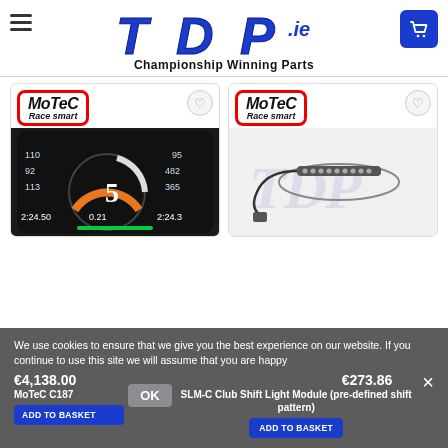[Figure (logo): TDP.ie Championship Winning Parts logo with cart and hamburger menu]
[Figure (photo): MoTeC C187 dash display product card with race dashboard image]
[Figure (photo): MoTeC SLM-C Club Shift Light Module product card]
We use cookies to ensure that we give you the best experience on our website. If you continue to use this site we will assume that you are happy
MoTeC C187
€4,138.00
SLM-C Club Shift Light Module (pre-defined shift pattern)
€273.86
ADD TO BASKET
OK